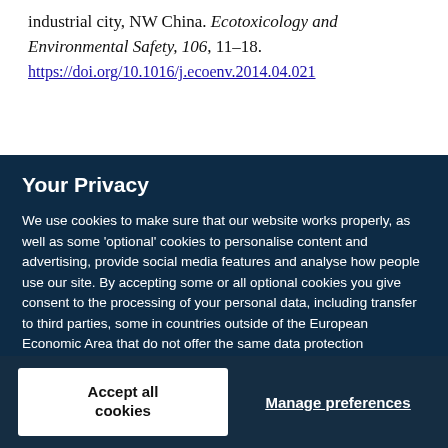industrial city, NW China. Ecotoxicology and Environmental Safety, 106, 11–18.
https://doi.org/10.1016/j.ecoenv.2014.04.021
Your Privacy
We use cookies to make sure that our website works properly, as well as some 'optional' cookies to personalise content and advertising, provide social media features and analyse how people use our site. By accepting some or all optional cookies you give consent to the processing of your personal data, including transfer to third parties, some in countries outside of the European Economic Area that do not offer the same data protection standards as the country where you live. You can decide which optional cookies to accept by clicking on 'Manage Settings', where you can also find more information about how your personal data is processed. Further information can be found in our privacy policy.
Accept all cookies
Manage preferences